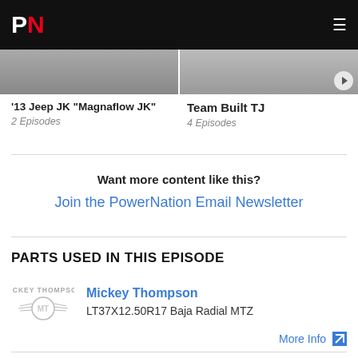PN
'13 Jeep JK "Magnaflow JK"
2 Episodes
Team Built TJ
4 Episodes
Want more content like this?
Join the PowerNation Email Newsletter
PARTS USED IN THIS EPISODE
[Figure (logo): Mickey Thompson logo]
Mickey Thompson
LT37X12.50R17 Baja Radial MTZ
More Info